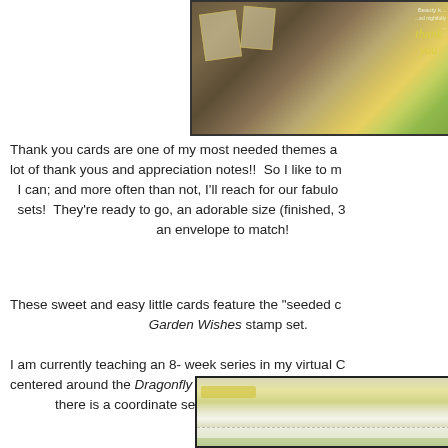[Figure (photo): Photo of handmade thank you cards with yellow tulip and ribbon on wood background]
Thank you cards are one of my most needed themes and I send a lot of thank yous and appreciation notes!!  So I like to make as many as I can; and more often than not, I'll reach for our fabulous note card sets!  They're ready to go, an adorable size (finished, 3 and come with an envelope to match!
These sweet and easy little cards feature the "seeded c... Garden Wishes stamp set.
I am currently teaching an 8- week series in my virtual C... centered around the Dragonfly Garden stamp set.  But it... there is a coordinate set to this -- and I thin...
[Figure (photo): Photo of handmade cards with yellow and green elements, close up view]